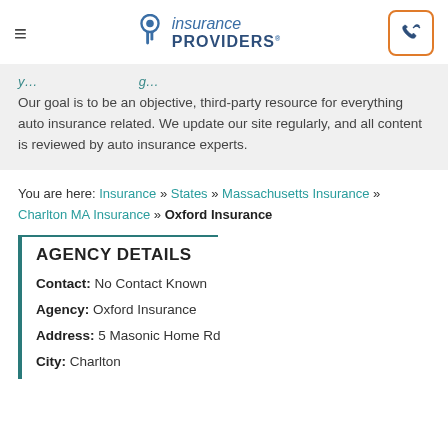Insurance Providers — navigation header with logo and phone button
Our goal is to be an objective, third-party resource for everything auto insurance related. We update our site regularly, and all content is reviewed by auto insurance experts.
You are here: Insurance » States » Massachusetts Insurance » Charlton MA Insurance » Oxford Insurance
AGENCY DETAILS
Contact: No Contact Known
Agency: Oxford Insurance
Address: 5 Masonic Home Rd
City: Charlton